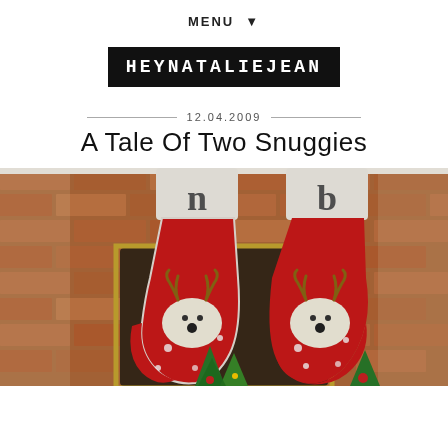MENU ▼
[Figure (logo): HEYNATALIEJEAN blog logo — white text on black rectangle background]
12.04.2009
A Tale Of Two Snuggies
[Figure (photo): Two red Christmas stockings with reindeer designs and white monogrammed tops hanging from a brick fireplace mantel. Small Christmas decorations visible at bottom.]